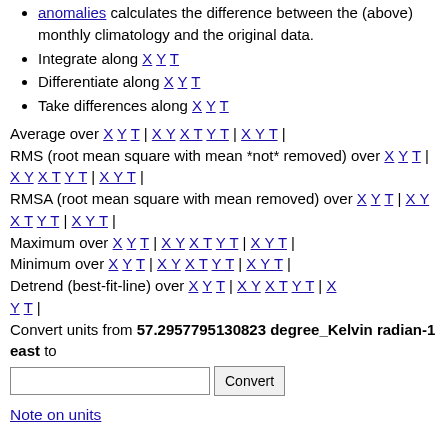anomalies calculates the difference between the (above) monthly climatology and the original data.
Integrate along X Y T
Differentiate along X Y T
Take differences along X Y T
Average over X Y T | X Y X T Y T | X Y T | RMS (root mean square with mean *not* removed) over X Y T | X Y X T Y T | X Y T | RMSA (root mean square with mean removed) over X Y T | X Y X T Y T | X Y T | Maximum over X Y T | X Y X T Y T | X Y T | Minimum over X Y T | X Y X T Y T | X Y T | Detrend (best-fit-line) over X Y T | X Y X T Y T | X Y T | Convert units from 57.2957795130823 degree_Kelvin radian-1 east to
Note on units